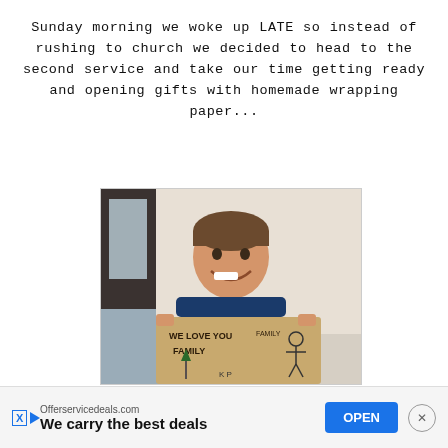Sunday morning we woke up LATE so instead of rushing to church we decided to head to the second service and take our time getting ready and opening gifts with homemade wrapping paper...
[Figure (photo): A young boy smiling and holding up a piece of cardboard with handwritten text 'WE LOVE YOU FAMILY' and childlike drawings on it.]
Offerservicedeals.com We carry the best deals OPEN